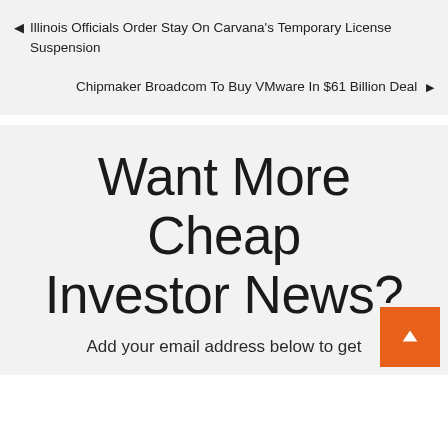◄ Illinois Officials Order Stay On Carvana's Temporary License Suspension
Chipmaker Broadcom To Buy VMware In $61 Billion Deal ►
Want More Cheap Investor News?
Add your email address below to get